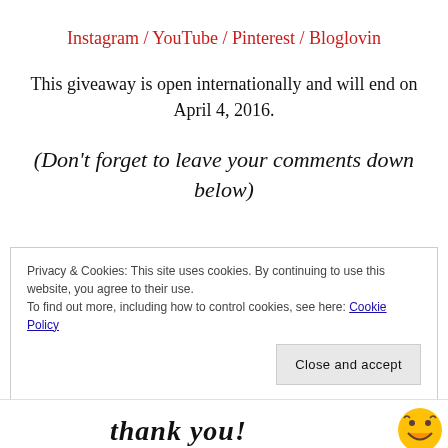Instagram / YouTube / Pinterest / Bloglovin
This giveaway is open internationally and will end on April 4, 2016.
(Don't forget to leave your comments down below)
Privacy & Cookies: This site uses cookies. By continuing to use this website, you agree to their use.
To find out more, including how to control cookies, see here: Cookie Policy
Close and accept
[Figure (illustration): Partial view of decorative 'thank you' text in bold italic script font and a laughing emoji graphic at the bottom of the page]